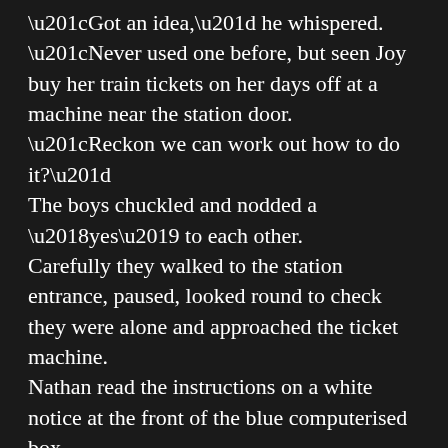“Got an idea,” he whispered. “Never used one before, but seen Joy buy her train tickets on her days off at a machine near the station door. “Reckon we can work out how to do it?” The boys chuckled and nodded a ‘yes’ to each other. Carefully they walked to the station entrance, paused, looked round to check they were alone and approached the ticket machine. Nathan read the instructions on a white notice at the front of the blue computerised box. “Reckon I know how,” he said. He chose their destination of London Euston, via Shrewsbury, and touched the screen, then he selected a single ticket and a junior half fare